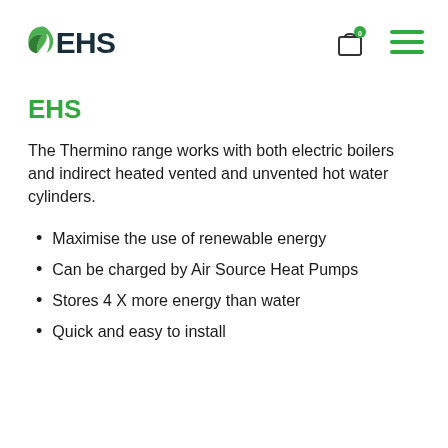EHS
EHS
The Thermino range works with both electric boilers and indirect heated vented and unvented hot water cylinders.
Maximise the use of renewable energy
Can be charged by Air Source Heat Pumps
Stores 4 X more energy than water
Quick and easy to install